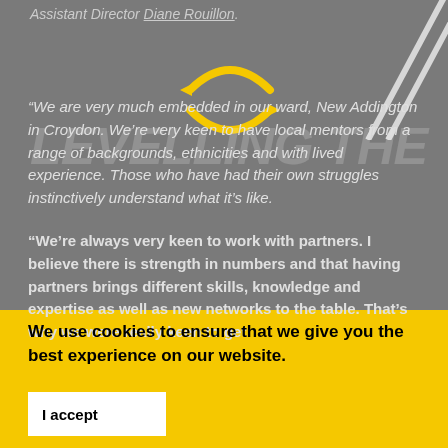Assistant Director Diane Rouillon.
“We are very much embedded in our ward, New Addington in Croydon. We’re very keen to have local mentors from a range of backgrounds, ethnicities and with lived experience. Those who have had their own struggles instinctively understand what it’s like.
“We’re always very keen to work with partners. I believe there is strength in numbers and that having partners brings different skills, knowledge and expertise as well as new networks to the table. That’s why we were really keen to get
We use cookies to ensure that we give you the best experience on our website.
I accept